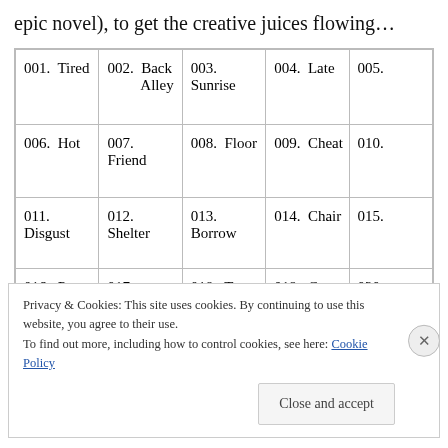epic novel), to get the creative juices flowing…
| 001. Tired | 002. Back Alley | 003. Sunrise | 004. Late | 005. |
| 006. Hot | 007. Friend | 008. Floor | 009. Cheat | 010. |
| 011. Disgust | 012. Shelter | 013. Borrow | 014. Chair | 015. |
| 016. Peace | 017. Beach | 018. True | 019. Crazy | 020. |
Privacy & Cookies: This site uses cookies. By continuing to use this website, you agree to their use.
To find out more, including how to control cookies, see here: Cookie Policy